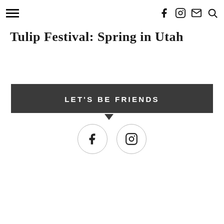Navigation menu icon and social/search icons (f, Instagram, mail, search)
Tulip Festival: Spring in Utah
LET'S BE FRIENDS
[Figure (infographic): Two circular social media icons: Facebook (f) and Instagram, outlined circles on white background]